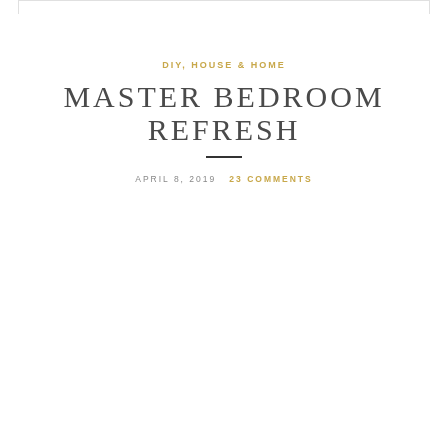DIY, HOUSE & HOME
MASTER BEDROOM REFRESH
APRIL 8, 2019   23 COMMENTS